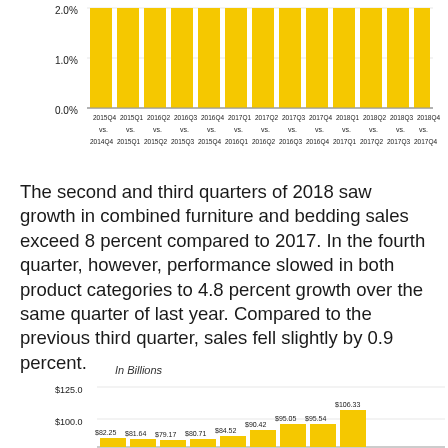[Figure (bar-chart): Year-over-year growth (partial)]
The second and third quarters of 2018 saw growth in combined furniture and bedding sales exceed 8 percent compared to 2017. In the fourth quarter, however, performance slowed in both product categories to 4.8 percent growth over the same quarter of last year. Compared to the previous third quarter, sales fell slightly by 0.9 percent.
[Figure (bar-chart): In Billions]